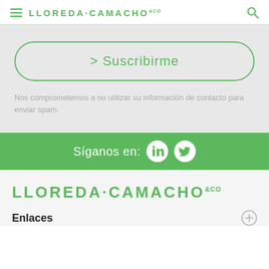LLOREDA·CAMACHO &co
> Suscribirme
Nos comprometemos a no utilizar su información de contacto para enviar spam.
Síganos en:
[Figure (logo): LLOREDA·CAMACHO &co logo in green]
Enlaces